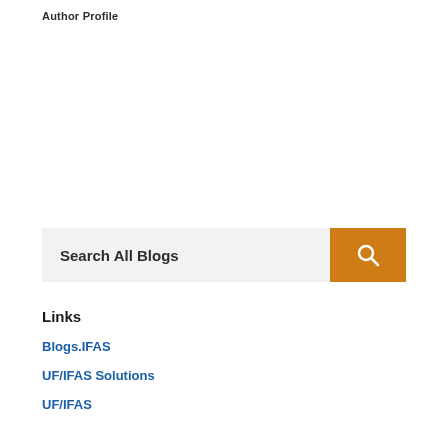Author Profile
[Figure (other): Search bar with label 'Search All Blogs' and an orange search button with a magnifying glass icon]
Links
Blogs.IFAS
UF/IFAS Solutions
UF/IFAS